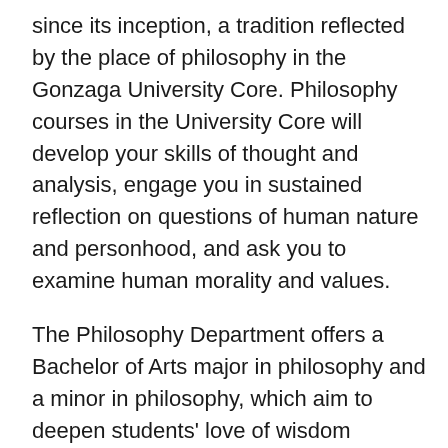since its inception, a tradition reflected by the place of philosophy in the Gonzaga University Core. Philosophy courses in the University Core will develop your skills of thought and analysis, engage you in sustained reflection on questions of human nature and personhood, and ask you to examine human morality and values.
The Philosophy Department offers a Bachelor of Arts major in philosophy and a minor in philosophy, which aim to deepen students' love of wisdom through the study of the intellectual and moral traditions of civilization. Courses grow your ability to think independently, clearly and critically about your assumptions, principles and ideas — preparing you to provide society enlightened, responsible leadership and service.
Many employers and professional schools value the well-rounded education of liberal arts majors, and a major in